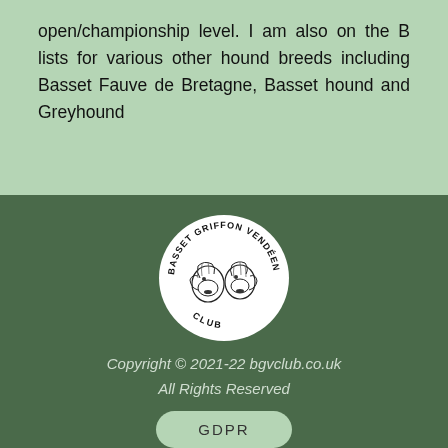open/championship level. I am also on the B lists for various other hound breeds including Basset Fauve de Bretagne, Basset hound and Greyhound
[Figure (logo): Circular logo for the Basset Griffon Vendeen Club showing two dog head illustrations in black and white with text around the border reading BASSET GRIFFON VENDEEN CLUB]
Copyright © 2021-22 bgvclub.co.uk
All Rights Reserved
GDPR